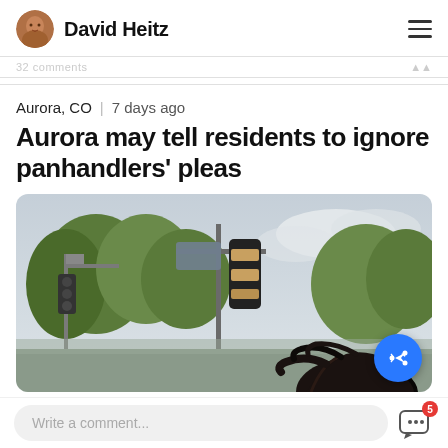David Heitz
32 comments
Aurora, CO  |  7 days ago
Aurora may tell residents to ignore panhandlers' pleas
[Figure (photo): Street intersection photo showing a traffic light pole with covered/vandalized signals, trees in the background, and a person's wind-blown hair visible at the bottom right of the frame. Overcast sky.]